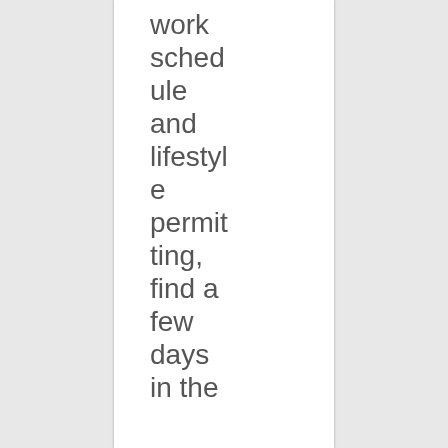work schedule and lifestyle permitting, find a few days in the